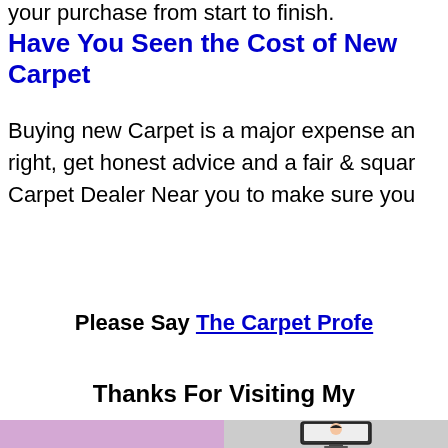your purchase from start to finish.
Have You Seen the Cost of New Carpet
Buying new Carpet is a major expense an right, get honest advice and a fair & squar Carpet Dealer Near you to make sure you
Please Say The Carpet Profe
Thanks For Visiting My
[Figure (illustration): Bottom portion showing a purple/lavender background on the left and a cartoon illustration of a person at a computer monitor on the right]